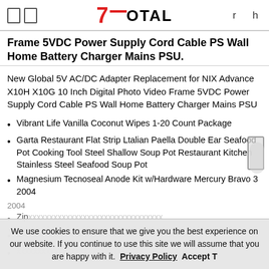7Total — r h
Frame 5VDC Power Supply Cord Cable PS Wall Home Battery Charger Mains PSU.
New Global 5V AC/DC Adapter Replacement for NIX Advance X10H X10G 10 Inch Digital Photo Video Frame 5VDC Power Supply Cord Cable PS Wall Home Battery Charger Mains PSU
Vibrant Life Vanilla Coconut Wipes 1-20 Count Package
Garta Restaurant Flat Strip Ltalian Paella Double Ear Seafood Pot Cooking Tool Steel Shallow Soup Pot Restaurant Kitchen Stainless Steel Seafood Soup Pot
Magnesium Tecnoseal Anode Kit w/Hardware Mercury Bravo 3 2004
Zip...
Email... White Tabriz...
We use cookies to ensure that we give you the best experience on our website. If you continue to use this site we will assume that you are happy with it.